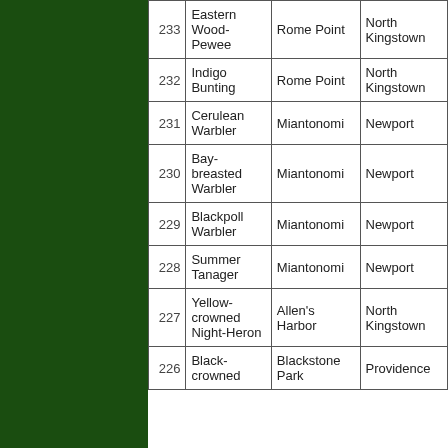| # | Species | Location | City |
| --- | --- | --- | --- |
| 233 | Eastern Wood-Pewee | Rome Point | North Kingstown |
| 232 | Indigo Bunting | Rome Point | North Kingstown |
| 231 | Cerulean Warbler | Miantonomi | Newport |
| 230 | Bay-breasted Warbler | Miantonomi | Newport |
| 229 | Blackpoll Warbler | Miantonomi | Newport |
| 228 | Summer Tanager | Miantonomi | Newport |
| 227 | Yellow-crowned Night-Heron | Allen's Harbor | North Kingstown |
| 226 | Black-crowned | Blackstone Park | Providence |